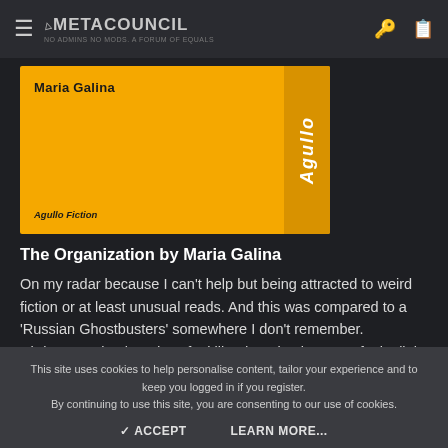MetaCouncil — No Admins No Mods A Forum Of Equals
[Figure (illustration): Book cover for 'The Organization' by Maria Galina, published by Agullo Fiction. Orange/amber cover with author name top-left, publisher bottom-left, and 'Agullo' text vertically along the right spine.]
The Organization by Maria Galina
On my radar because I can't help but being attracted to weird fiction or at least unusual reads. And this was compared to a 'Russian Ghostbusters' somewhere I don't remember. Christmas miracle, I don't feel like dropping it, I even feel a little bit of interest in what will unfold in my next reading session.
This site uses cookies to help personalise content, tailor your experience and to keep you logged in if you register.
By continuing to use this site, you are consenting to our use of cookies.
ACCEPT   LEARN MORE...